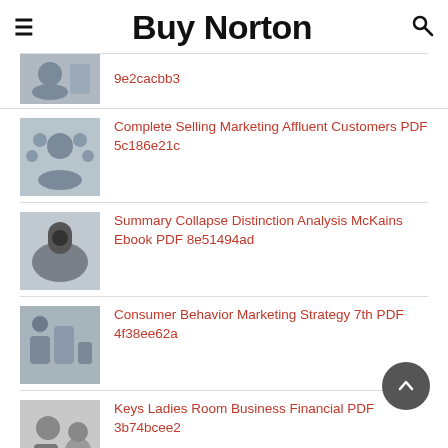Buy Norton
9e2cacbb3
Complete Selling Marketing Affluent Customers PDF 5c186e21c
Summary Collapse Distinction Analysis McKains Ebook PDF 8e51494ad
Consumer Behavior Marketing Strategy 7th PDF 4f38ee62a
Keys Ladies Room Business Financial PDF 3b74bcee2
Trendology Advantage Data Driven Real Time Marketing PDF 245afb7ac